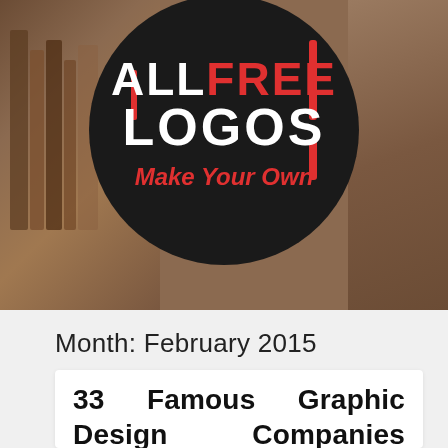[Figure (logo): AllFreeLogos circular logo on dark background with wood/book background photo. Black circle with white bold text 'ALL FREE LOGOS' and red italic text 'Make Your Own'. Red vertical bar accent on the right side of the circle.]
Month: February 2015
33 Famous Graphic Design Companies From Round The Globe